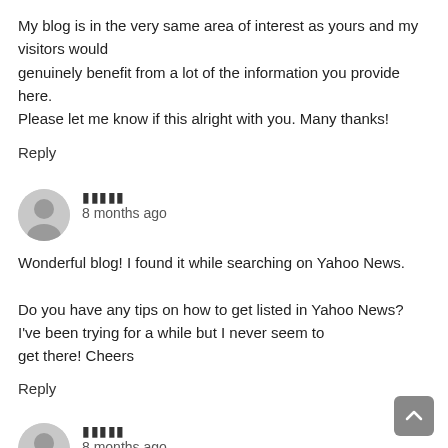My blog is in the very same area of interest as yours and my visitors would
genuinely benefit from a lot of the information you provide here.
Please let me know if this alright with you. Many thanks!
Reply
█████
8 months ago
Wonderful blog! I found it while searching on Yahoo News.

Do you have any tips on how to get listed in Yahoo News?
I've been trying for a while but I never seem to
get there! Cheers
Reply
█████
8 months ago
Greetings! Very useful advice in this particular article!
It is the little changes that produce the biggest changes.